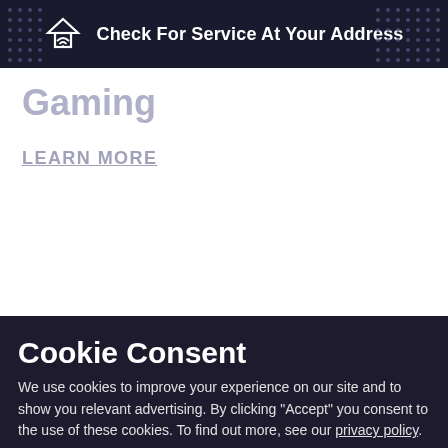Check For Service At Your Address
Gaming
LEARN MORE
Cookie Consent
We use cookies to improve your experience on our site and to show you relevant advertising. By clicking "Accept" you consent to the use of these cookies. To find out more, see our privacy policy.
ACCEPT
REJECT